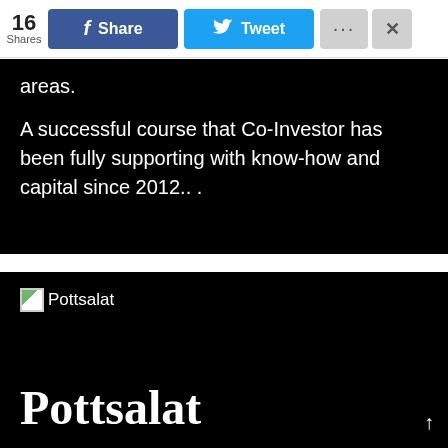16 Shares | Share | Tweet
areas.
A successful course that Co-Investor has been fully supporting with know-how and capital since 2012.. .
[Figure (screenshot): Broken image icon followed by text 'Pottsalat']
Pottsalat